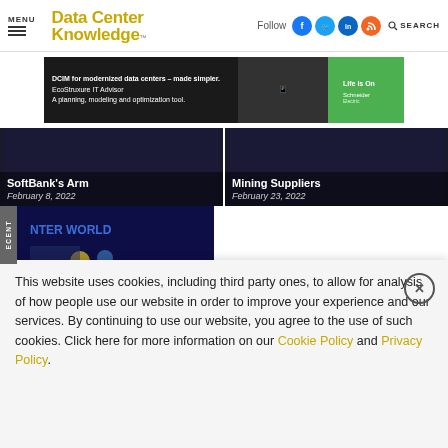MENU | DataCenter Knowledge | Follow | SEARCH
[Figure (screenshot): Advertisement banner for EcoStruxure IT Advisor by Schneider Electric: DCIM for modernized data centers - made simpler. A planning, modeling and optimization tool.]
[Figure (photo): Article card: SoftBank's Arm, February 8, 2022, dark background]
[Figure (photo): Article card: Mining Suppliers, February 23, 2022, dark background]
[Figure (photo): Article card: Data Center World in Austin: What to... conference image with speaker on stage]
This website uses cookies, including third party ones, to allow for analysis of how people use our website in order to improve your experience and our services. By continuing to use our website, you agree to the use of such cookies. Click here for more information on our Cookie Policy and Privacy Policy.